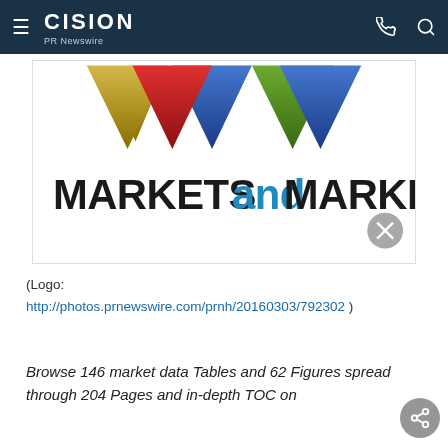CISION PR Newswire
[Figure (logo): MarketsandMarkets logo with diamond shapes above company name. Blue, red, gold, and green diamond shapes arranged in a row above the text MARKETSANDMARKETS where AND is in blue and MARKETS is in dark/black.]
(Logo: http://photos.prnewswire.com/prnh/20160303/792302 )
Browse 146 market data Tables and 62 Figures spread through 204 Pages and in-depth TOC on